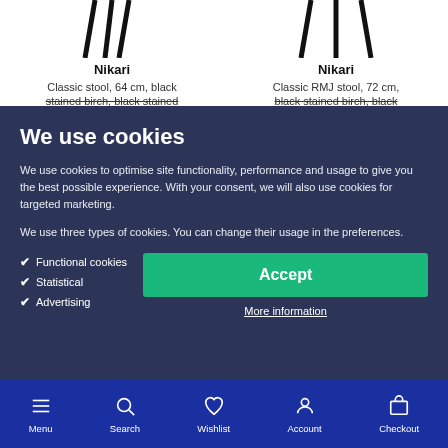[Figure (photo): Two stools (Nikari) partially visible at top of page]
Nikari
Classic stool, 64 cm, black stained birch, black stained
Nikari
Classic RMJ stool, 72 cm, black stained birch, black
We use cookies
We use cookies to optimise site functionality, performance and usage to give you the best possible experience. With your consent, we will also use cookies for targeted marketing.
We use three types of cookies. You can change their usage in the preferences.
Functional cookies
Statistical
Advertising
Accept
More information
Menu  Search  Wishlist  Account  Checkout